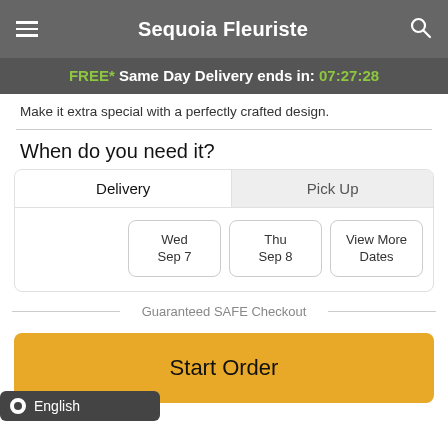Sequoia Fleuriste
FREE* Same Day Delivery ends in: 07:27:28
Make it extra special with a perfectly crafted design.
When do you need it?
Delivery | Pick Up
Wed Sep 7 | Thu Sep 8 | View More Dates
English
Guaranteed SAFE Checkout
Start Order